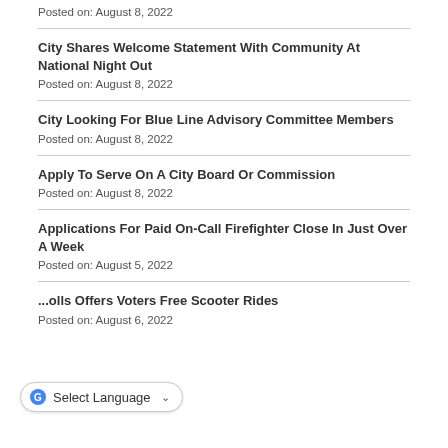Posted on: August 8, 2022
City Shares Welcome Statement With Community At National Night Out
Posted on: August 8, 2022
City Looking For Blue Line Advisory Committee Members
Posted on: August 8, 2022
Apply To Serve On A City Board Or Commission
Posted on: August 8, 2022
Applications For Paid On-Call Firefighter Close In Just Over A Week
Posted on: August 5, 2022
...olls Offers Voters Free Scooter Rides
Posted on: August 6, 2022